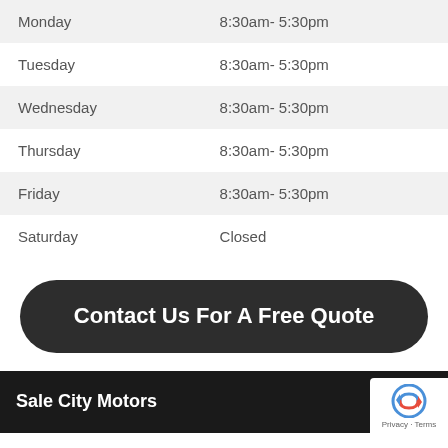| Day | Hours |
| --- | --- |
| Monday | 8:30am- 5:30pm |
| Tuesday | 8:30am- 5:30pm |
| Wednesday | 8:30am- 5:30pm |
| Thursday | 8:30am- 5:30pm |
| Friday | 8:30am- 5:30pm |
| Saturday | Closed |
Contact Us For A Free Quote
Sale City Motors